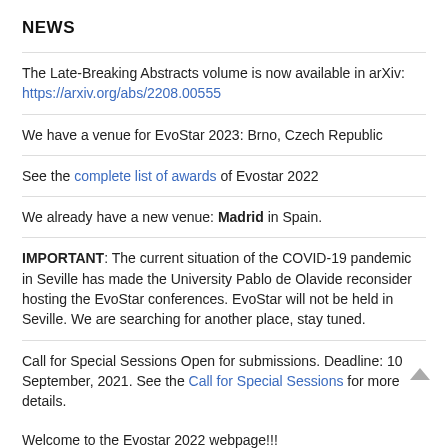NEWS
The Late-Breaking Abstracts volume is now available in arXiv: https://arxiv.org/abs/2208.00555
We have a venue for EvoStar 2023: Brno, Czech Republic
See the complete list of awards of Evostar 2022
We already have a new venue: Madrid in Spain.
IMPORTANT: The current situation of the COVID-19 pandemic in Seville has made the University Pablo de Olavide reconsider hosting the EvoStar conferences. EvoStar will not be held in Seville. We are searching for another place, stay tuned.
Call for Special Sessions Open for submissions. Deadline: 10 September, 2021. See the Call for Special Sessions for more details.
Welcome to the Evostar 2022 webpage!!!